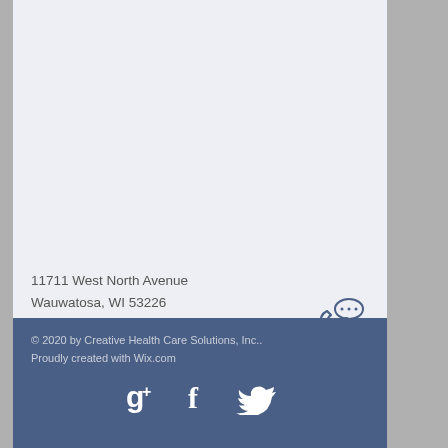11711 West North Avenue
Wauwatosa, WI 53226
employment@creativehealthcs.com
Tel: 414-431-9411
Fax: 414-778-0242
© 2020 by Creative Health Care Solutions, Inc..
Proudly created with Wix.com
[Figure (logo): Google+, Facebook, and Twitter social media icons in white]
[Figure (illustration): Phone handset with speech bubble icon]